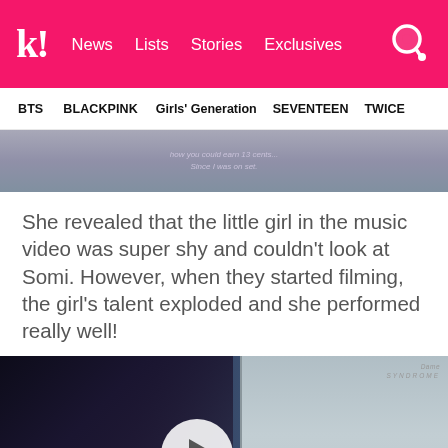k! News  Lists  Stories  Exclusives
BTS  BLACKPINK  Girls' Generation  SEVENTEEN  TWICE
[Figure (screenshot): Cropped bottom portion of a video or image, showing what appears to be a music video still with subtitle text 'Since I was on set.']
She revealed that the little girl in the music video was super shy and couldn't look at Somi. However, when they started filming, the girl's talent exploded and she performed really well!
[Figure (screenshot): Video thumbnail showing a young woman with blonde hair in a streaming/gaming room setup with colorful lighting. A play button overlay is visible in the center. A secondary panel on the right shows another person. Watermark reads 'SYNDROME' in top right.]